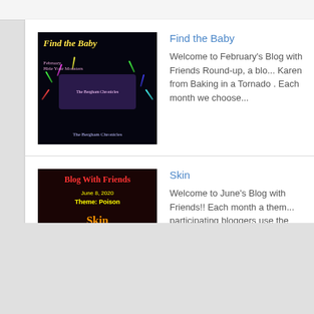Find the Baby — Welcome to February's Blog with Friends Round-up, a blo... Karen from Baking in a Tornado . Each month we choose...
Skin — Welcome to June's Blog with Friends!! Each month a them... participating bloggers use the theme, to create their own u...
Read Across America #BlogWithFriends — Welcome to March's Blog with Friends Round-up. Each m... choose a theme, and create a unique post based on that...